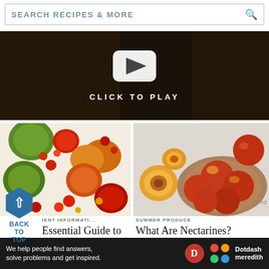SEARCH RECIPES & MORE
[Figure (screenshot): Video player area with white rounded play button and 'CLICK TO PLAY' text on dark background]
[Figure (photo): Various colorful heirloom tomatoes on white background — green, red, orange varieties]
[Figure (photo): Nectarines spilling out of a brown paper bag on light grey background]
BACK TO TOP (hexagon arrow-up button)
IENT INFORMATI...
Essential Guide to Tomatoes
SUMMER PRODUCE
What Are Nectarines?
Ad
We help people find answers, solve problems and get inspired. Dotdash meredith